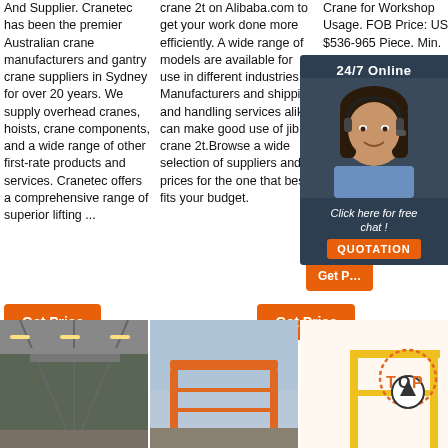And Supplier. Cranetec has been the premier Australian crane manufacturers and gantry crane suppliers in Sydney for over 20 years. We supply overhead cranes, hoists, crane components, and a wide range of other first-rate products and services. Cranetec offers a comprehensive range of superior lifting ...
crane 2t on Alibaba.com to get your work done more efficiently. A wide range of models are available for use in different industries. Manufacturers and shipping and handling services alike can make good use of jib crane 2t.Browse a wide selection of suppliers and prices for the one that best fits your budget.
Crane for Workshop Usage. FOB Price: US $536-965 Piece. Min. Order: 1 Piece. Contact Now. Quick View. Light C.../Jib Crane. Electric FOB Pri... $1,000- Min. Or... Contact
[Figure (illustration): 24/7 Online chat widget with woman wearing headset, orange QUOTATION button and 'Click here for free chat!' text]
[Figure (photo): Interior of industrial facility with overhead crane system]
[Figure (photo): Orange gantry crane outdoors]
[Figure (logo): TOP logo with crane/hook icon in orange and black]